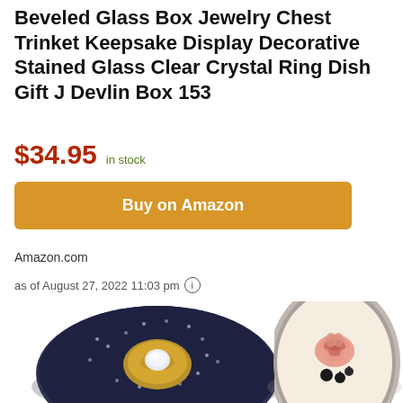Beveled Glass Box Jewelry Chest Trinket Keepsake Display Decorative Stained Glass Clear Crystal Ring Dish Gift J Devlin Box 153
$34.95  in stock
Buy on Amazon
Amazon.com
as of August 27, 2022 11:03 pm
[Figure (photo): Two decorative jewelry boxes/trinket dishes. Left: a round dark navy/black enamel box with gold filigree and a clear crystal center stone. Right: an oval cream-colored box with a painted pink rose and black floral accent, with a silver ornate frame border.]